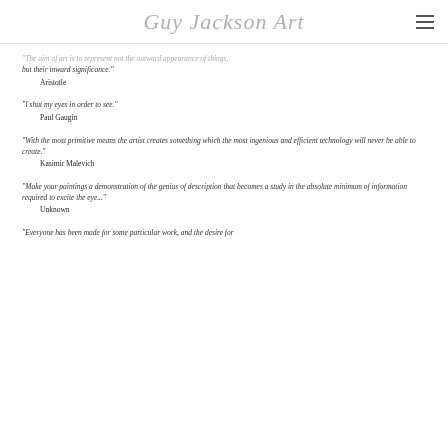Guy Jackson Art
"The aim of art is to represent not the outward appearance of things, but their inward significance."
Aristotle
“I shut my eyes in order to see.”
Paul Gaugin
"With the most primitive means the artist creates something which the most ingenious and efficient technology will never be able to create."
Kasimir Malevich
"Make your paintings a demonstration of the genius of description that becomes a study in the absolute minimum of information required to excite the eye..."
Unknown
"Everyone has been made for some particular work, and the desire for